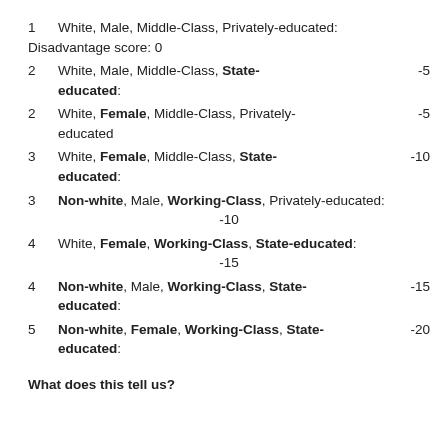1    White, Male, Middle-Class, Privately-educated: Disadvantage score: 0
2    White, Male, Middle-Class, State-educated:    -5
2    White, Female, Middle-Class, Privately-educated    -5
3    White, Female, Middle-Class, State-educated:    -10
3    Non-white, Male, Working-Class, Privately-educated:    -10
4    White, Female, Working-Class, State-educated:    -15
4    Non-white, Male, Working-Class, State-educated:    -15
5    Non-white, Female, Working-Class, State-educated:    -20
What does this tell us?